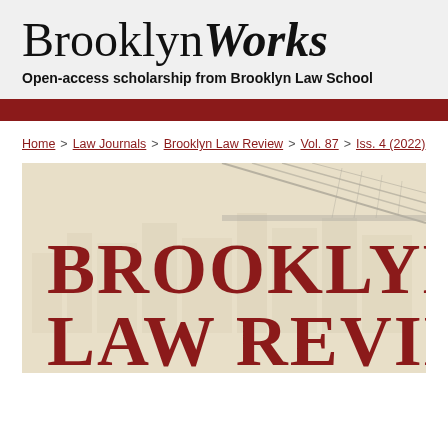BrooklynWorks
Open-access scholarship from Brooklyn Law School
Home > Law Journals > Brooklyn Law Review > Vol. 87 > Iss. 4 (2022)
[Figure (illustration): Cover of Brooklyn Law Review showing a faded cityscape with bridge cables and bold dark red text reading BROOKLYN LAW REVIEW on a cream background]